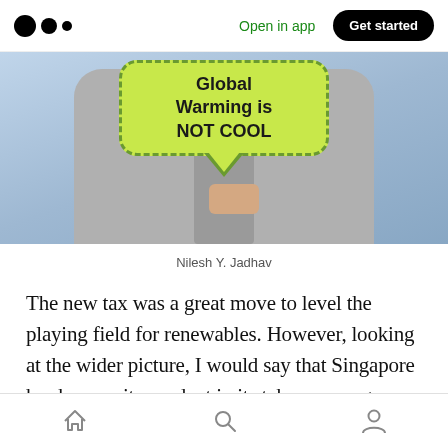Medium app header with logo, Open in app, Get started
[Figure (photo): Person in grey jacket holding a green speech-bubble sign that reads 'Global Warming is NOT COOL']
Nilesh Y. Jadhav
The new tax was a great move to level the playing field for renewables. However, looking at the wider picture, I would say that Singapore has been quite prudent in its take on energy.
Bottom navigation bar with home, search, and profile icons